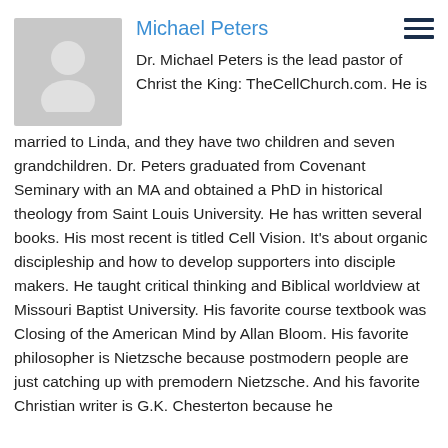Michael Peters
Dr. Michael Peters is the lead pastor of Christ the King: TheCellChurch.com. He is married to Linda, and they have two children and seven grandchildren. Dr. Peters graduated from Covenant Seminary with an MA and obtained a PhD in historical theology from Saint Louis University. He has written several books. His most recent is titled Cell Vision. It’s about organic discipleship and how to develop supporters into disciple makers. He taught critical thinking and Biblical worldview at Missouri Baptist University. His favorite course textbook was Closing of the American Mind by Allan Bloom. His favorite philosopher is Nietzsche because postmodern people are just catching up with premodern Nietzsche. And his favorite Christian writer is G.K. Chesterton because he